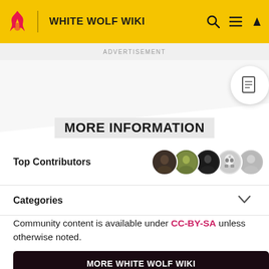WHITE WOLF WIKI
ADVERTISEMENT
MORE INFORMATION
Top Contributors
Categories
Community content is available under CC-BY-SA unless otherwise noted.
MORE WHITE WOLF WIKI
1 Tzimisco